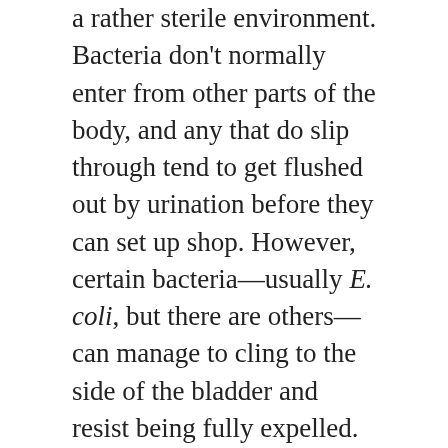a rather sterile environment. Bacteria don't normally enter from other parts of the body, and any that do slip through tend to get flushed out by urination before they can set up shop. However, certain bacteria—usually E. coli, but there are others—can manage to cling to the side of the bladder and resist being fully expelled. They then multiply, causing the infection.
Bacteria enter the bladder through one of two main routes. The first is from the bloodstream. Almost any bacterial infection that reaches the blood can end up causing a bladder infection. The second is through the urethra, where the bacteria will travel up the urinary tract and reach the bladder. This is why more women get UTIs and bladder infections than men—their urinary tracts are smaller so there's less distance to cover. The opening to the urethra in women is also close to the anus and vagina, making it easier for bacteria to cross over. Sexual activities can also push bacteria further into the body for both women and